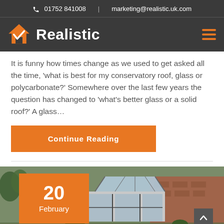01752 841008 | marketing@realistic.uk.com
[Figure (logo): Realistic company logo with orange house checkmark icon and white bold text 'Realistic' on dark background, with orange hamburger menu icon on right]
It is funny how times change as we used to get asked all the time, 'what is best for my conservatory roof, glass or polycarbonate?' Somewhere over the last few years the question has changed to 'what's better glass or a solid roof?' A glass…
Continue Reading
[Figure (photo): Photo of a modern house extension with a glass skylight/lantern roof, brick exterior, and landscaped surroundings. Date badge showing '20 February' in orange overlaid on bottom left.]